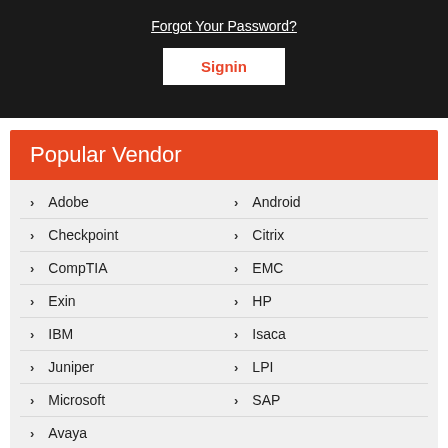Forgot Your Password?
Signin
Popular Vendor
Adobe
Android
Checkpoint
Citrix
CompTIA
EMC
Exin
HP
IBM
Isaca
Juniper
LPI
Microsoft
SAP
Avaya